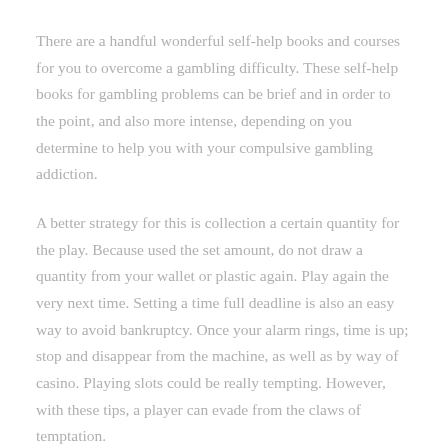There are a handful wonderful self-help books and courses for you to overcome a gambling difficulty. These self-help books for gambling problems can be brief and in order to the point, and also more intense, depending on you determine to help you with your compulsive gambling addiction.
A better strategy for this is collection a certain quantity for the play. Because used the set amount, do not draw a quantity from your wallet or plastic again. Play again the very next time. Setting a time full deadline is also an easy way to avoid bankruptcy. Once your alarm rings, time is up; stop and disappear from the machine, as well as by way of casino. Playing slots could be really tempting. However, with these tips, a player can evade from the claws of temptation.